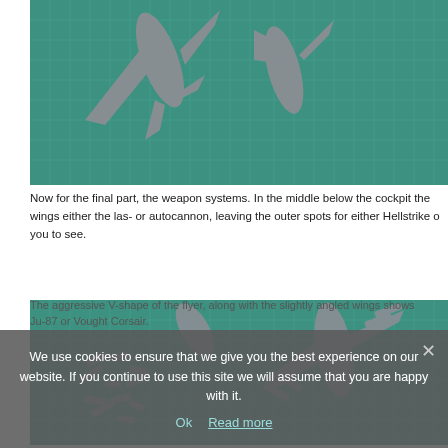[Figure (photo): Two photos of grey plastic model aircraft parts on a green cutting mat, showing the model from above]
Now for the final part, the weapon systems. In the middle below the cockpit the wings either the las- or autocannon, leaving the outer spots for either Hellstrike or you to see.
[Figure (photo): Two photos of grey plastic model aircraft weapon parts laid out on a green cutting mat]
The aggressive V-shape of the flyer, along with the slightly angled wings shows Ju-87 or Vought Corsair.
We use cookies to ensure that we give you the best experience on our website. If you continue to use this site we will assume that you are happy with it.